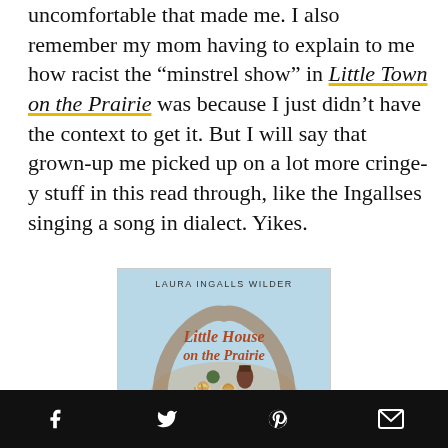uncomfortable that made me. I also remember my mom having to explain to me how racist the “minstrel show” in Little Town on the Prairie was because I just didn’t have the context to get it. But I will say that grown-up me picked up on a lot more cringe-y stuff in this read through, like the Ingallses singing a song in dialect. Yikes.
[Figure (photo): Book cover of 'Little House on the Prairie' by Laura Ingalls Wilder, showing illustrated children in pioneer setting with decorative arch]
Social share icons: Facebook, Twitter, Pinterest, Email